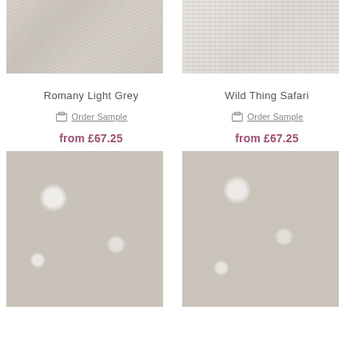[Figure (photo): Romany Light Grey wallpaper sample showing textured diagonal line pattern in beige/grey tones]
Romany Light Grey
Order Sample
from £67.25
[Figure (photo): Wild Thing Safari wallpaper sample showing zebra and leopard jungle pattern in grey/white tones]
Wild Thing Safari
Order Sample
from £67.25
[Figure (photo): Wallpaper sample with bird and branch botanical pattern on taupe/grey background with white leaf motifs]
[Figure (photo): Wallpaper sample with bird and branch botanical pattern on taupe/grey background with white leaf motifs, slightly different colorway]